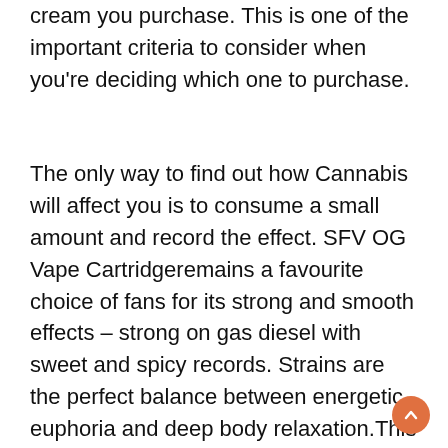cream you purchase. This is one of the important criteria to consider when you're deciding which one to purchase.
The only way to find out how Cannabis will affect you is to consume a small amount and record the effect. SFV OG Vape Cartridgeremains a favourite choice of fans for its strong and smooth effects – strong on gas diesel with sweet and spicy records. Strains are the perfect balance between energetic euphoria and deep body relaxation.This Heavy Indica strain immediately left the San Fernando Valley , believed to be related to Afghan Kush. Holy